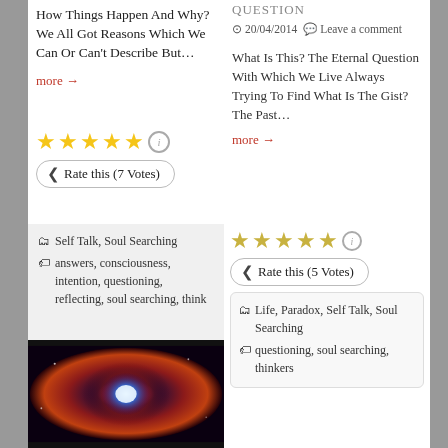How Things Happen And Why? We All Got Reasons Which We Can Or Can't Describe But…
more →
Rate this (7 Votes)
QUESTION
20/04/2014  Leave a comment
What Is This? The Eternal Question With Which We Live Always Trying To Find What Is The Gist? The Past…
more →
Self Talk, Soul Searching
answers, consciousness, intention, questioning, reflecting, soul searching, think
Rate this (5 Votes)
Life, Paradox, Self Talk, Soul Searching
questioning, soul searching, thinkers
[Figure (photo): Nebula image showing swirling red and blue cosmic gas]